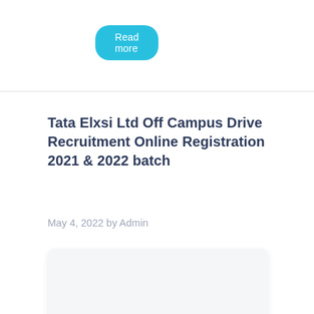Read more
Tata Elxsi Ltd Off Campus Drive Recruitment Online Registration 2021 & 2022 batch
May 4, 2022 by Admin
[Figure (photo): Blank/white image card placeholder]